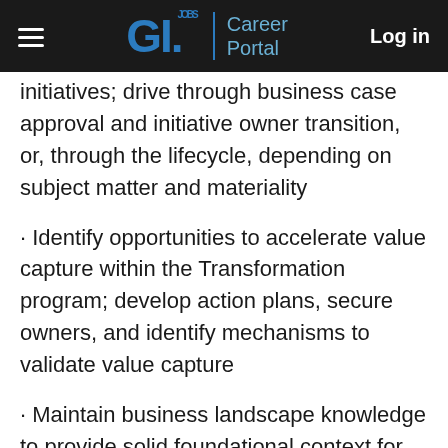GI.JOBS | Career Portal   Log in
initiatives; drive through business case approval and initiative owner transition, or, through the lifecycle, depending on subject matter and materiality
· Identify opportunities to accelerate value capture within the Transformation program; develop action plans, secure owners, and identify mechanisms to validate value capture
· Maintain business landscape knowledge to provide solid foundational context for critical strategic projects